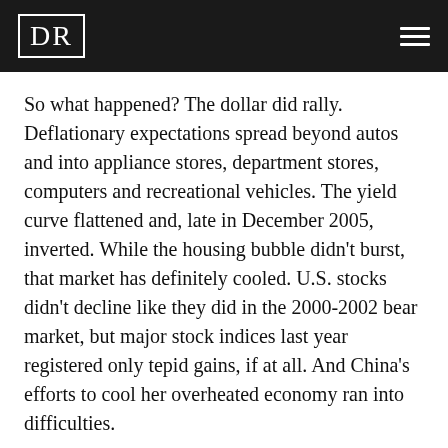DR
So what happened? The dollar did rally. Deflationary expectations spread beyond autos and into appliance stores, department stores, computers and recreational vehicles. The yield curve flattened and, late in December 2005, inverted. While the housing bubble didn't burst, that market has definitely cooled. U.S. stocks didn't decline like they did in the 2000-2002 bear market, but major stock indices last year registered only tepid gains, if at all. And China's efforts to cool her overheated economy ran into difficulties.
What's ahead for stocks and the economy in 2006? Setting aside unknown elements like major terrorist